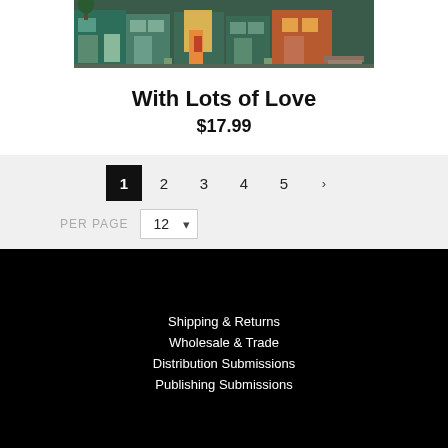[Figure (illustration): Book cover image showing a row of colorful storefronts at night with warm light glowing from windows]
With Lots of Love
$17.99
1  2  3  4  5  >
PER PAGE  12
Shipping & Returns
Wholesale & Trade
Distribution Submissions
Publishing Submissions